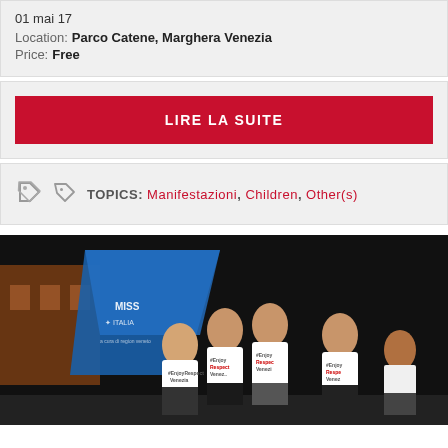01 mai 17
Location: Parco Catene, Marghera Venezia
Price: Free
LIRE LA SUITE
TOPICS: Manifestazioni, Children, Other(s)
[Figure (photo): Young women on stage at a Miss Italia event in Marghera Venezia, wearing white t-shirts with text. Blue Miss Italia tent/banner visible in background.]